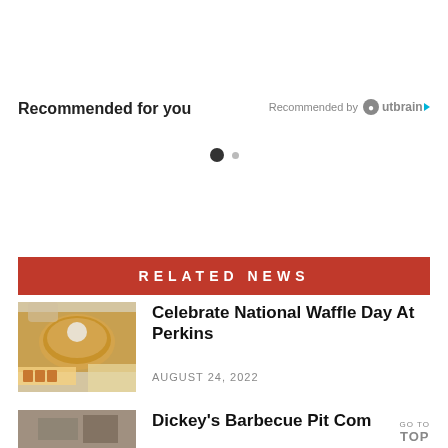Recommended for you
Recommended by Outbrain
[Figure (other): Two pagination dots indicating a carousel or slideshow widget]
RELATED NEWS
[Figure (photo): Photo of a waffle with toppings, eggs, and bacon on a plate]
Celebrate National Waffle Day At Perkins
AUGUST 24, 2022
[Figure (photo): Thumbnail photo partially visible for Dickey's Barbecue Pit article]
Dickey's Barbecue Pit Com…
GO TO TOP